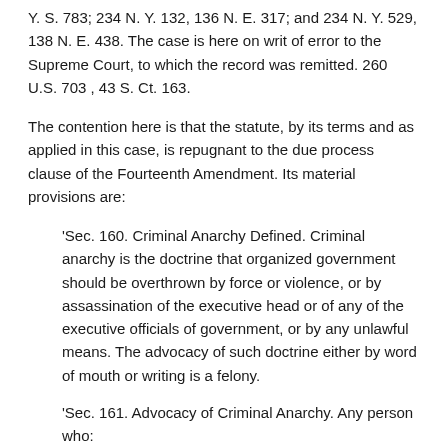Y. S. 783; 234 N. Y. 132, 136 N. E. 317; and 234 N. Y. 529, 138 N. E. 438. The case is here on writ of error to the Supreme Court, to which the record was remitted. 260 U.S. 703 , 43 S. Ct. 163.
The contention here is that the statute, by its terms and as applied in this case, is repugnant to the due process clause of the Fourteenth Amendment. Its material provisions are:
'Sec. 160. Criminal Anarchy Defined. Criminal anarchy is the doctrine that organized government should be overthrown by force or violence, or by assassination of the executive head or of any of the executive officials of government, or by any unlawful means. The advocacy of such doctrine either by word of mouth or writing is a felony.
'Sec. 161. Advocacy of Criminal Anarchy. Any person who: